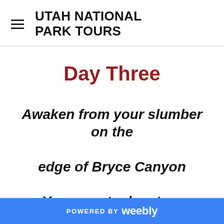UTAH NATIONAL PARK TOURS
Day Three
Awaken from your slumber on the edge of Bryce Canyon
Your great adventure continues as
POWERED BY weebly